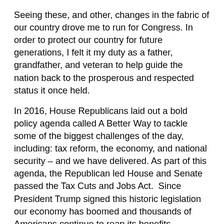Seeing these, and other, changes in the fabric of our country drove me to run for Congress. In order to protect our country for future generations, I felt it my duty as a father, grandfather, and veteran to help guide the nation back to the prosperous and respected status it once held.
In 2016, House Republicans laid out a bold policy agenda called A Better Way to tackle some of the biggest challenges of the day, including: tax reform, the economy, and national security – and we have delivered. As part of this agenda, the Republican led House and Senate passed the Tax Cuts and Jobs Act.  Since President Trump signed this historic legislation our economy has boomed and thousands of Americans continue to reap its benefits.
In less than one year more than 1.6 million jobs have been created since the tax bill was passed into law, 90 percent of workers are receiving bigger paychecks, and unemployment has hit historic lows.
In my Congressional District alone families will now be taking home an average of $19,500 in additional